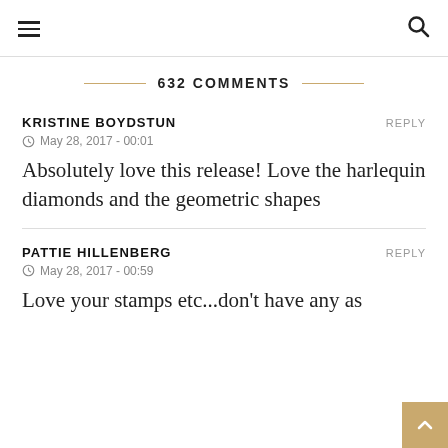≡  🔍
632 COMMENTS
KRISTINE BOYDSTUN
REPLY
May 28, 2017 - 00:01
Absolutely love this release! Love the harlequin diamonds and the geometric shapes
PATTIE HILLENBERG
REPLY
May 28, 2017 - 00:59
Love your stamps etc...don't have any as